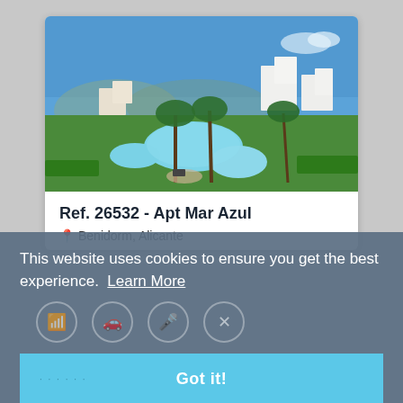[Figure (photo): Aerial view of a Mediterranean apartment complex with swimming pools, palm trees, green lawns, and white buildings against a blue sky]
Ref. 26532 - Apt Mar Azul
Benidorm, Alicante
This website uses cookies to ensure you get the best experience. Learn More
Got it!